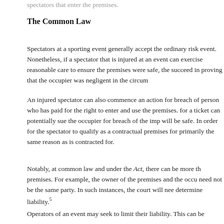spectators that enter the premises.
The Common Law
Spectators at a sporting event generally accept the ordinary risk event. Nonetheless, if a spectator that is injured at an event can exercise reasonable care to ensure the premises were safe, the succeed in proving that the occupier was negligent in the circum
An injured spectator can also commence an action for breach of person who has paid for the right to enter and use the premises. for a ticket can potentially sue the occupier for breach of the imp will be safe. In order for the spectator to qualify as a contractual premises for primarily the same reason as is contracted for.
Notably, at common law and under the Act, there can be more th premises. For example, the owner of the premises and the occu need not be the same party. In such instances, the court will nee determine liability.5
Operators of an event may seek to limit their liability. This can be clauses printed on the ticket, and other forms of contractual agre able to rely on the exclusion, the language used must be clear a in the Canadian case law to date have not attempted to use su